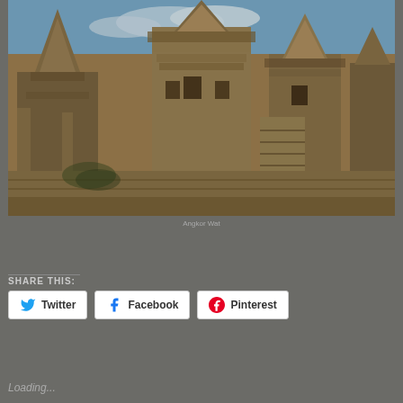[Figure (photo): Photograph of Angkor Wat temple complex taken from ground level looking up, showing ornate stone towers and architecture against a blue sky with clouds]
Angkor Wat
SHARE THIS:
Twitter   Facebook   Pinterest
Loading...